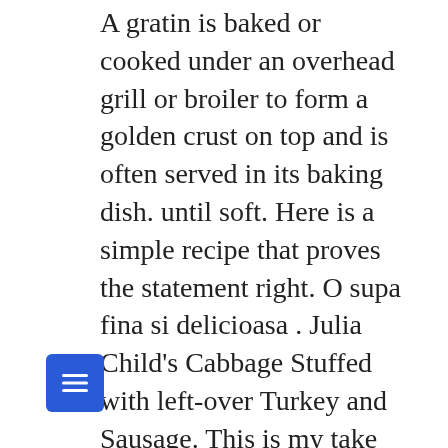A gratin is baked or cooked under an overhead grill or broiler to form a golden crust on top and is often served in its baking dish. until soft. Here is a simple recipe that proves the statement right. O supa fina si delicioasa . Julia Child's Cabbage Stuffed with left-over Turkey and Sausage. This is my take on Julia's classic recipe. Prep Time. Przepisy na julia child w wyszukiwarce kulinarnej – przynajmniej 88 idealnych przepisów na julia child. https://www.meilleurduchef.com/en/recipe/hachis-parmentier.html Although we may think of the legendary chef and TV host Julia Child as an All-American chef, Child's signature influences were from French cuisine and how it could be translated to fit the American home. I *loved* is week of French Fridays with Dorie – it's one of my favourite meals. Feb 12, 2013 – Hachis